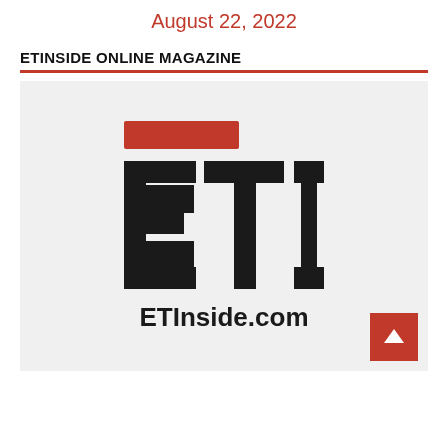August 22, 2022
ETINSIDE ONLINE MAGAZINE
[Figure (logo): ETInside.com logo featuring large bold 'ETI' letters in black with a red rectangle accent bar above, and 'ETInside.com' text below, on a light gray background. A red scroll-to-top button is in the bottom right corner.]